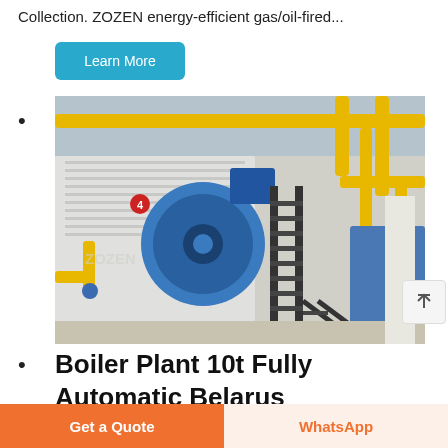Collection. ZOZEN energy-efficient gas/oil-fired...
Learn More
[Figure (photo): Industrial boiler plant interior showing large cylindrical blue boiler units with yellow pipes and a metal staircase, inside a factory building.]
Boiler Plant 10t Fully Automatic Belarus
2t Gas Boiler Machine High Efficiency Agent
Get a Quote
WhatsApp